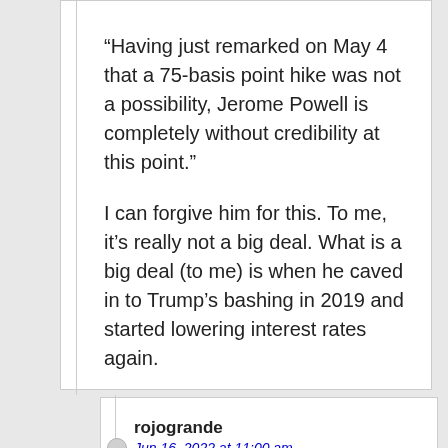“Having just remarked on May 4 that a 75-basis point hike was not a possibility, Jerome Powell is completely without credibility at this point.”
I can forgive him for this. To me, it’s really not a big deal. What is a big deal (to me) is when he caved in to Trump’s bashing in 2019 and started lowering interest rates again.
rojogrande
Jun 16, 2022 at 11:00 am
I agree with you on this. Two CPI reports came out since May 4, with the most recent one during the quiet period before